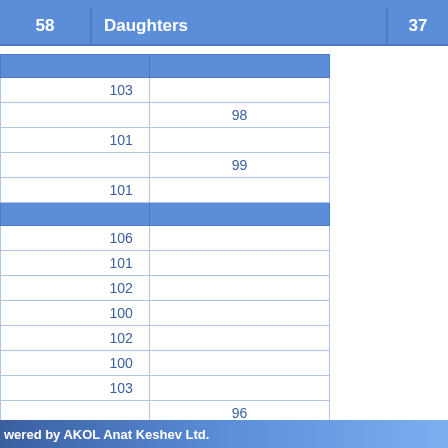| 58 | Daughters | 37 |
| --- | --- | --- |
| 103 |  |
|  | 98 |
| 101 |  |
|  | 99 |
| 101 |  |
|  |  |
| 106 |  |
| 101 |  |
| 102 |  |
| 100 |  |
| 102 |  |
| 100 |  |
| 103 |  |
|  | 96 |
| 103 |  |
| 100 |  |
| 100 |  |
|  | 99 |
wered by AKOL Anat Keshev Ltd.